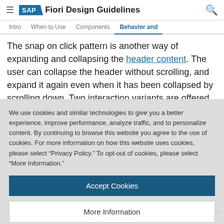SAP Fiori Design Guidelines
Intro  When to Use  Components  Behavior and
The snap on click pattern is another way of expanding and collapsing the header content. The user can collapse the header without scrolling, and expand it again even when it has been collapsed by scrolling down. Two interaction variants are offered, which always appear in combination:
We use cookies and similar technologies to give you a better experience, improve performance, analyze traffic, and to personalize content. By continuing to browse this website you agree to the use of cookies. For more information on how this website uses cookies, please select "Privacy Policy." To opt-out of cookies, please select "More Information."
Accept Cookies
More Information
Privacy Policy | Powered by: TrustArc
clicking anywhere on the header area. All changes to the